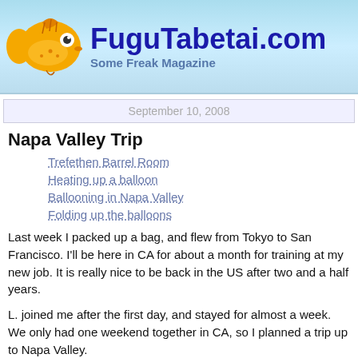FuguTabetai.com — Some Freak Magazine
September 10, 2008
Napa Valley Trip
Trefethen Barrel Room
Heating up a balloon
Ballooning in Napa Valley
Folding up the balloons
Last week I packed up a bag, and flew from Tokyo to San Francisco. I'll be here in CA for about a month for training at my new job. It is really nice to be back in the US after two and a half years.
L. joined me after the first day, and stayed for almost a week. We only had one weekend together in CA, so I planned a trip up to Napa Valley.
I enjoy wine, and so does L., so I thought it would be fun to visit the valley. We drove from Palo Alto early on Saturday morning and took the scenic route, up 101 and over the Golden Gate bridge. The drive itself was a lot of fun, as we the sun had started to become visible.